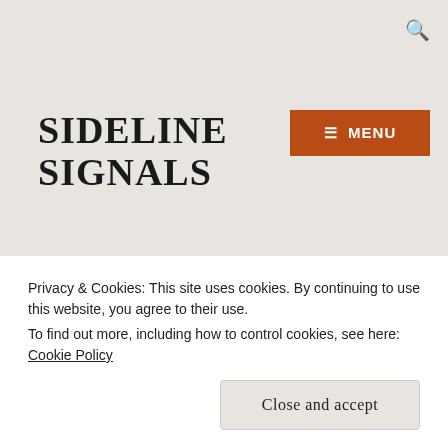🔍
SIDELINE SIGNALS
≡ MENU
FEBRUARY 18, 2013  |  BRAD HUBBARD  |  FOOTBALL, SOCCER
How The Mighty Fall
Privacy & Cookies: This site uses cookies. By continuing to use this website, you agree to their use.
To find out more, including how to control cookies, see here: Cookie Policy
Close and accept